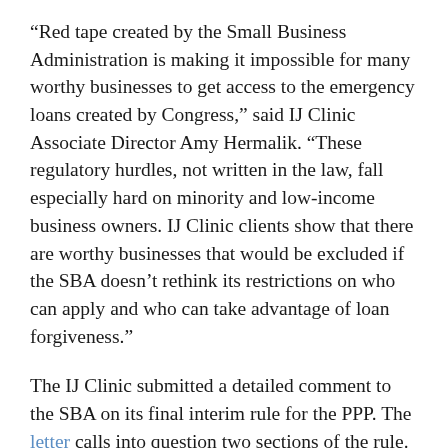“Red tape created by the Small Business Administration is making it impossible for many worthy businesses to get access to the emergency loans created by Congress,” said IJ Clinic Associate Director Amy Hermalik. “These regulatory hurdles, not written in the law, fall especially hard on minority and low-income business owners. IJ Clinic clients show that there are worthy businesses that would be excluded if the SBA doesn’t rethink its restrictions on who can apply and who can take advantage of loan forgiveness.”
The IJ Clinic submitted a detailed comment to the SBA on its final interim rule for the PPP. The letter calls into question two sections of the rule. The first makes a business ineligible for PPP loans if an individual who owns 20% or more of the company is currently indicted on any criminal charges—felony or misdemeanor—or